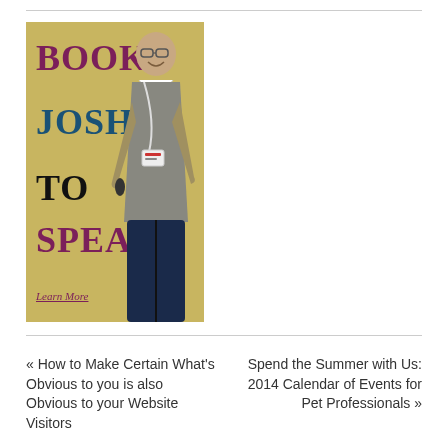[Figure (illustration): Promotional banner image with tan/gold background showing a smiling man holding a microphone wearing a vest and conference badge. Large bold text reads 'BOOK JOSH TO SPEAK' with 'Learn More' underlined below.]
« How to Make Certain What's Obvious to you is also Obvious to your Website Visitors
Spend the Summer with Us: 2014 Calendar of Events for Pet Professionals »